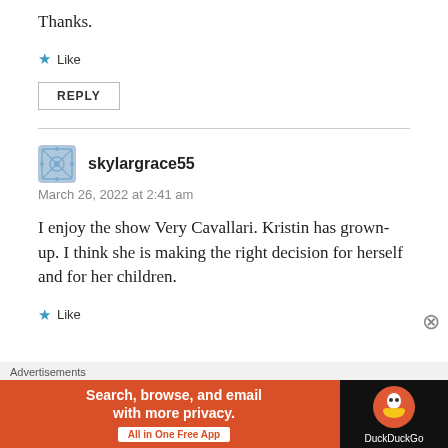Thanks.
★ Like
REPLY
skylargrace55
March 26, 2022 at 2:41 am
I enjoy the show Very Cavallari. Kristin has grown-up. I think she is making the right decision for herself and for her children.
★ Like
[Figure (screenshot): DuckDuckGo advertisement banner: orange background with text 'Search, browse, and email with more privacy. All in One Free App' and DuckDuckGo logo on dark background]